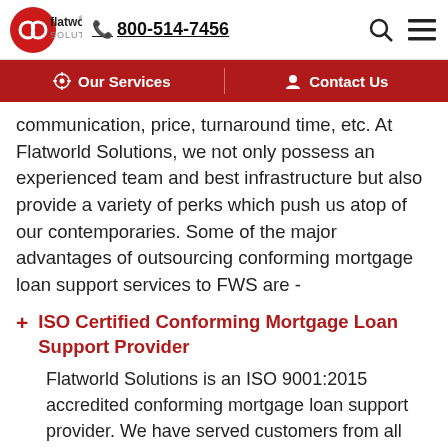flatworld solutions | 800-514-7456
Our Services | Contact Us
communication, price, turnaround time, etc. At Flatworld Solutions, we not only possess an experienced team and best infrastructure but also provide a variety of perks which push us atop of our contemporaries. Some of the major advantages of outsourcing conforming mortgage loan support services to FWS are -
ISO Certified Conforming Mortgage Loan Support Provider
Flatworld Solutions is an ISO 9001:2015 accredited conforming mortgage loan support provider. We have served customers from all global regions with high-quality mortgage loan support that helped them grow the revenue in no time. You can get the